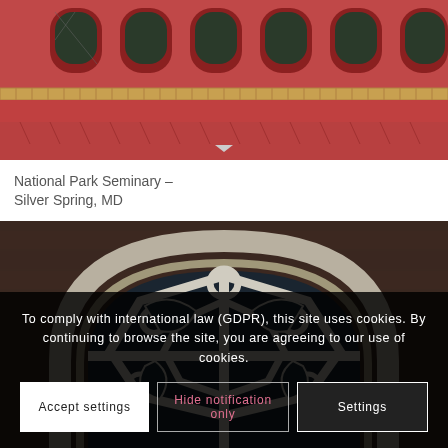[Figure (photo): Photo of National Park Seminary building exterior showing red/maroon arched windows with diamond-pane glass and decorative brick and tile trim along the roofline, Silver Spring, MD]
National Park Seminary – Silver Spring, MD
[Figure (photo): Close-up photo of a large circular Gothic tracery window with white stone/concrete framing and dark glass panes, set in a brick building]
To comply with international law (GDPR), this site uses cookies. By continuing to browse the site, you are agreeing to our use of cookies.
Accept settings
Hide notification only
Settings